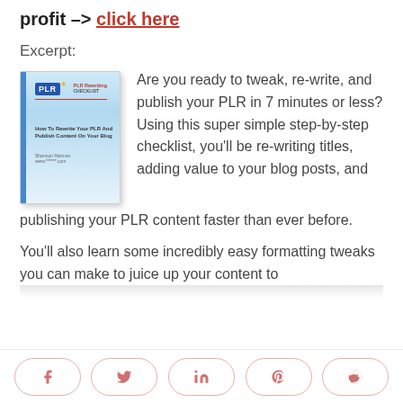profit -> click here
Excerpt:
[Figure (illustration): Book cover for PLR Rewriting Checklist - How To Rewrite Your PLR And Publish Content On Your Blog]
Are you ready to tweak, re-write, and publish your PLR in 7 minutes or less? Using this super simple step-by-step checklist, you'll be re-writing titles, adding value to your blog posts, and publishing your PLR content faster than ever before.
You'll also learn some incredibly easy formatting tweaks you can make to juice up your content to
Share buttons: Facebook, Twitter, LinkedIn, Pinterest, Reddit